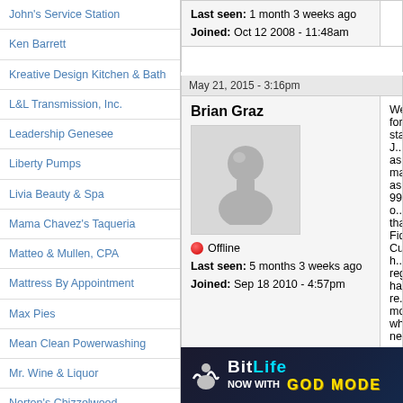John's Service Station
Ken Barrett
Kreative Design Kitchen & Bath
L&L Transmission, Inc.
Leadership Genesee
Liberty Pumps
Livia Beauty & Spa
Mama Chavez's Taqueria
Matteo & Mullen, CPA
Mattress By Appointment
Max Pies
Mean Clean Powerwashing
Mr. Wine & Liquor
Norton's Chizzelwood
Oakfield Fitness
Oliver's
Optique
Last seen: 1 month 3 weeks ago
Joined: Oct 12 2008 - 11:48am
May 21, 2015 - 3:16pm
Brian Graz
Offline
Last seen: 5 months 3 weeks ago
Joined: Sep 18 2010 - 4:57pm
Well, for starters J... as many as 99% o... that Fidel Cuomo h... registered, have re... more what needs ... the increasing gov... Constitutional Lib... worry, you don't ne... part of society tha...
[Figure (screenshot): BitLife advertisement banner - NOW WITH GOD MODE]